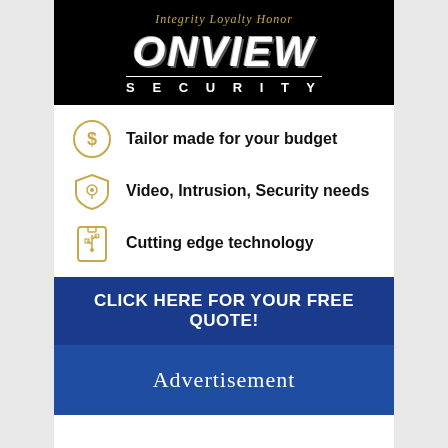[Figure (logo): OnView Security logo on black background with tagline 'Integrity Loyalty Honor', bold italic 'OnView' text, and 'SECURITY' below with underline]
Tailor made for your budget
Video, Intrusion, Security needs
Cutting edge technology
CLICK HERE FOR YOUR FREE QUOTE!
Advertisement